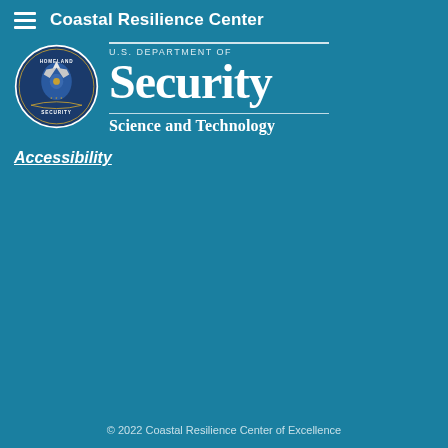Coastal Resilience Center
[Figure (logo): DHS Department of Homeland Security Science and Technology logo with circular eagle seal and text]
Accessibility
© 2022 Coastal Resilience Center of Excellence